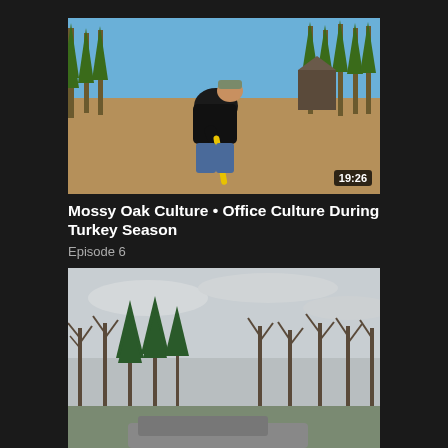[Figure (photo): Video thumbnail showing a man in a black jacket and camo cap bending down outdoors with a yellow-handled tool, pine trees and a barn in background. Duration badge shows 19:26.]
Mossy Oak Culture • Office Culture During Turkey Season
Episode 6
[Figure (photo): Video thumbnail showing a winter outdoor scene with bare and evergreen trees against an overcast grey sky, with a vehicle partially visible at the bottom.]